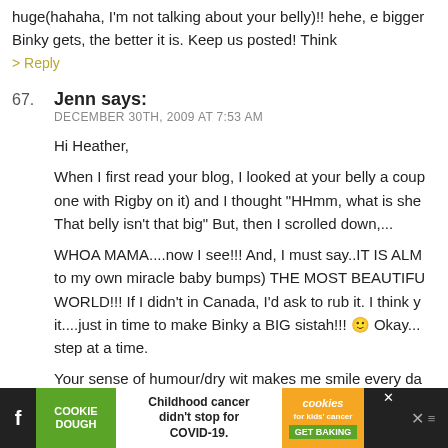huge(hahaha, I'm not talking about your belly)!! hehe, e bigger Binky gets, the better it is. Keep us posted! Think
> Reply
67. Jenn says:
DECEMBER 30TH, 2009 AT 7:53 AM

Hi Heather,

When I first read your blog, I looked at your belly a coup one with Rigby on it) and I thought "HHmm, what is she That belly isn't that big" But, then I scrolled down,...
WHOA MAMA....now I see!!! And, I must say..IT IS ALM to my own miracle baby bumps) THE MOST BEAUTIFU WORLD!!! If I didn't in Canada, I'd ask to rub it. I think y it....just in time to make Binky a BIG sistah!!! 🙂 Okay... step at a time.
Your sense of humour/dry wit makes me smile every da that.
[Figure (infographic): Cookie Dough / Cookies for Kids Cancer ad banner at the bottom. Text: COOKIE DOUGH, Childhood cancer didn't stop for COVID-19., cookies for kids cancer, GET BAKING, with close button and social icons.]